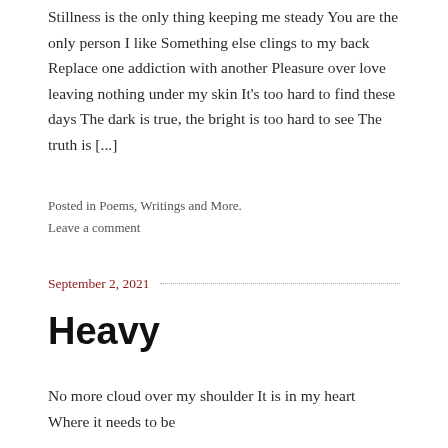Stillness is the only thing keeping me steady You are the only person I like Something else clings to my back Replace one addiction with another Pleasure over love leaving nothing under my skin It's too hard to find these days The dark is true, the bright is too hard to see The truth is [...]
Posted in Poems, Writings and More.
Leave a comment
September 2, 2021
Heavy
No more cloud over my shoulder It is in my heart Where it needs to be